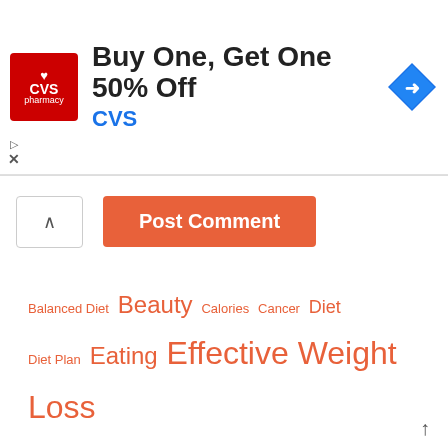[Figure (other): CVS Pharmacy advertisement banner: Buy One, Get One 50% Off with CVS logo and navigation arrow icon]
[Figure (other): Post Comment button section with chevron/collapse button]
Balanced Diet  Beauty  Calories  Cancer  Diet  Diet Plan  Eating  Effective Weight Loss  Exercise  feat  featured  fitness  Food  Fresh Fruits  Fresh Fruits And Vegetables  Fruits And Vegetables  Fruits Vegetables  Hcg Weight Loss  Health  Health Experts  Losing Weight  Lt  Massage  Mental health  Muscle